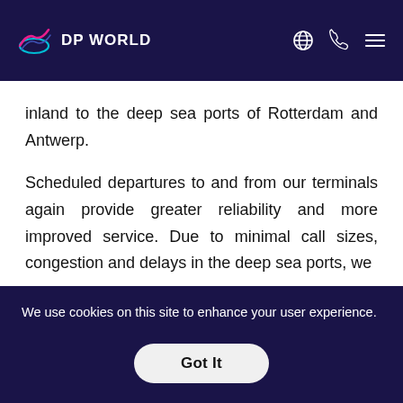DP WORLD
inland to the deep sea ports of Rotterdam and Antwerp.
Scheduled departures to and from our terminals again provide greater reliability and more improved service. Due to minimal call sizes, congestion and delays in the deep sea ports, we
We use cookies on this site to enhance your user experience. By continuing to visit this site you agree to our use of cookies. Learn More
Got It